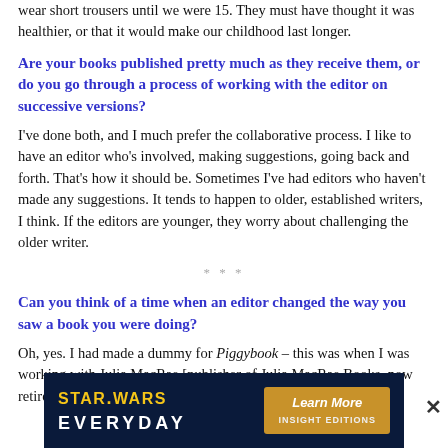wear short trousers until we were 15. They must have thought it was healthier, or that it would make our childhood last longer.
Are your books published pretty much as they receive them, or do you go through a process of working with the editor on successive versions?
I've done both, and I much prefer the collaborative process. I like to have an editor who's involved, making suggestions, going back and forth. That's how it should be. Sometimes I've had editors who haven't made any suggestions. It tends to happen to older, established writers, I think. If the editors are younger, they worry about challenging the older writer.
* * *
Can you think of a time when an editor changed the way you saw a book you were doing?
Oh, yes. I had made a dummy for Piggybook – this was when I was working with Julia MacRae [publisher of Julia MacRae Books, now retired]. She was excellent. She had edited my very
[Figure (infographic): Star Wars Everyday advertisement banner with 'Learn More' button and Insight Editions branding, with an X close button]